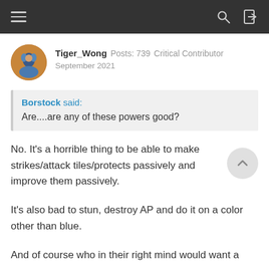Navigation bar with menu, search, and login icons
Tiger_Wong  Posts: 739  Critical Contributor
September 2021
Borstock said:
Are....are any of these powers good?
No. It's a horrible thing to be able to make strikes/attack tiles/protects passively and improve them passively.
It's also bad to stun, destroy AP and do it on a color other than blue.
And of course who in their right mind would want a